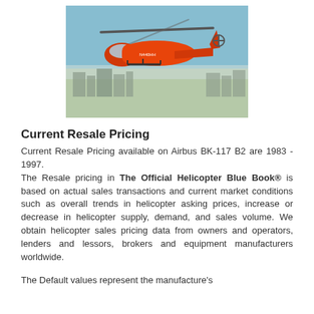[Figure (photo): Red/orange Airbus BK-117 B2 helicopter flying in the sky with a city skyline in the background]
Current Resale Pricing
Current Resale Pricing available on Airbus BK-117 B2 are 1983 - 1997.
The Resale pricing in The Official Helicopter Blue Book® is based on actual sales transactions and current market conditions such as overall trends in helicopter asking prices, increase or decrease in helicopter supply, demand, and sales volume. We obtain helicopter sales pricing data from owners and operators, lenders and lessors, brokers and equipment manufacturers worldwide.
The Default values represent the manufacture's